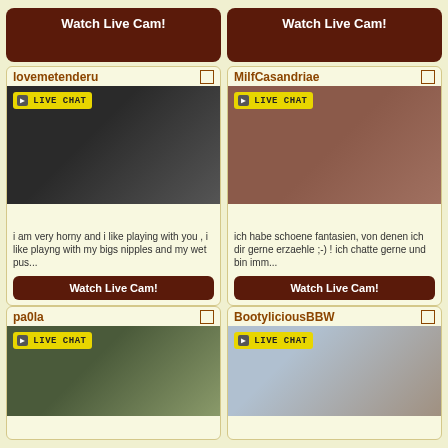Watch Live Cam!
Watch Live Cam!
lovemetenderu
[Figure (photo): Woman in black clothing showing midriff area, live cam stream thumbnail]
i am very horny and i like playing with you , i like playng with my bigs nipples and my wet pus...
Watch Live Cam!
MilfCasandriae
[Figure (photo): Red-haired woman in black top, live cam stream thumbnail]
ich habe schoene fantasien, von denen ich dir gerne erzaehle ;-) ! ich chatte gerne und bin imm...
Watch Live Cam!
pa0la
[Figure (photo): Young woman on a balcony with iron railing, live cam stream thumbnail]
BootyliciousBBW
[Figure (photo): Woman in light blue bikini, live cam stream thumbnail]